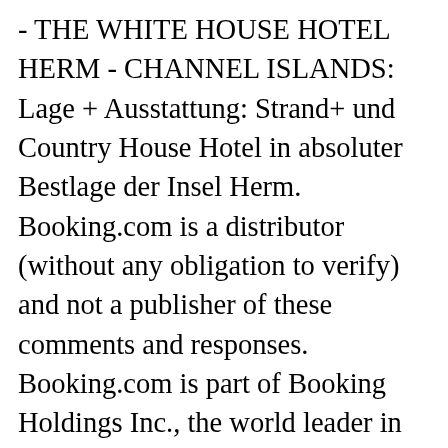- THE WHITE HOUSE HOTEL HERM - CHANNEL ISLANDS: Lage + Ausstattung: Strand+ und Country House Hotel in absoluter Bestlage der Insel Herm. Booking.com is a distributor (without any obligation to verify) and not a publisher of these comments and responses. Booking.com is part of Booking Holdings Inc., the world leader in online travel and related services. All rooms have free toiletries and daily housekeeping. Reservations longer than 30 nights are not possible. It has free Wi-Fi throughout, an outdoor swimming pool, and a sun terrace for you to relax on. Booking.com will make efforts to obscure email addresses, phone numbers, website addresses, ...